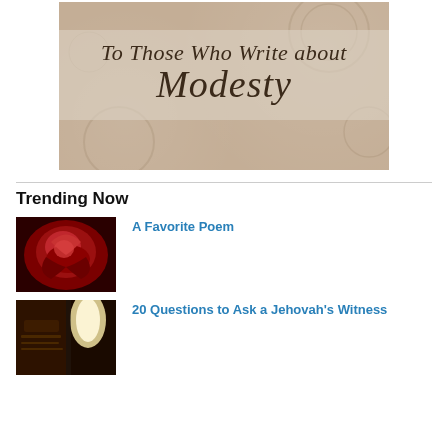[Figure (illustration): Decorative banner image with beige/tan floral background and semi-transparent text box reading 'To Those Who Write about Modesty' in italic serif font]
Trending Now
[Figure (photo): Close-up photo of a deep red rose]
A Favorite Poem
[Figure (photo): Photo of a book with a lamp in the background]
20 Questions to Ask a Jehovah's Witness